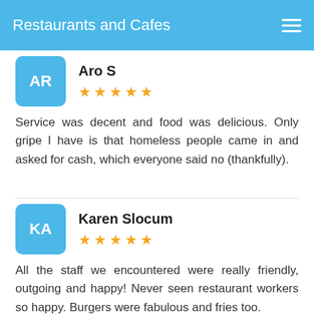Restaurants and Cafes
Aro S
★★★★★
Service was decent and food was delicious. Only gripe I have is that homeless people came in and asked for cash, which everyone said no (thankfully).
Karen Slocum
★★★★★
All the staff we encountered were really friendly, outgoing and happy! Never seen restaurant workers so happy. Burgers were fabulous and fries too.
Arturo Garcia
★★★★★